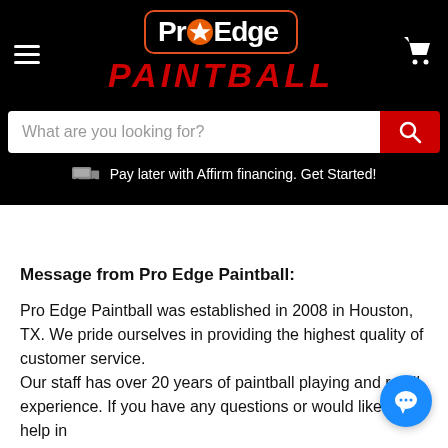[Figure (logo): Pro Edge Paintball logo with orange star icon, white text on black rounded rectangle with orange border, and red italic 'PAINTBALL' text below]
[Figure (screenshot): Search bar with placeholder 'What are you looking for?' and red search button with magnifying glass icon]
Pay later with Affirm financing. Get Started!
Message from Pro Edge Paintball:
Pro Edge Paintball was established in 2008 in Houston, TX. We pride ourselves in providing the highest quality of customer service.
Our staff has over 20 years of paintball playing and retail experience. If you have any questions or would like any help in paintball, don't hesitate to contact us.